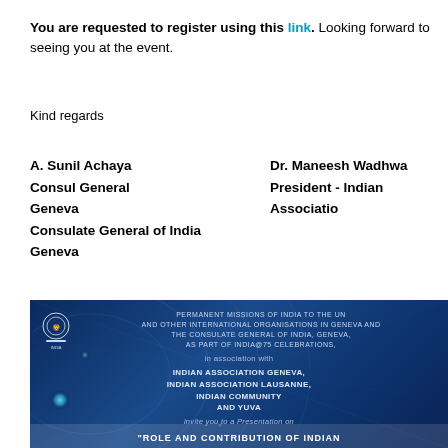You are requested to register using this link. Looking forward to seeing you at the event.
Kind regards
A. Sunil Achaya
Consul General
Geneva
Consulate General of India
Geneva
Dr. Maneesh Wadhwa
President - Indian Association
[Figure (illustration): Blue invitation card with India emblem showing: PERMANENT MISSIONS OF INDIA TO THE UN AND OTHER INTERNATIONAL ORGANISATIONS IN GENEVA AND THE CONSULATE GENERAL OF INDIA, GENEVA, AS PART OF INDIA@75 CELEBRATIONS, in association with INDIAN ASSOCIATION GENEVA, INDIAN ASSOCIATION LAUSANNE, INDIAN COMMUNITY AND YUVA, invite you to a Presentation on 'ROLE AND CONTRIBUTION OF INDIAN']